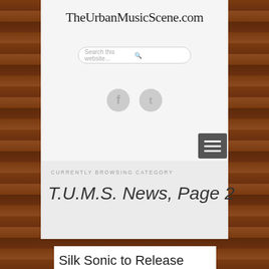TheUrbanMusicScene.com
[Figure (screenshot): Search bar with placeholder text 'Search this website...' and search icon]
[Figure (screenshot): Facebook and Twitter social media icon circles in light gray]
[Figure (screenshot): Hamburger menu button (three lines) in dark gray square]
CURRENTLY BROWSING CATEGORY
T.U.M.S. News, Page 2
Silk Sonic to Release Highly Anticipated New